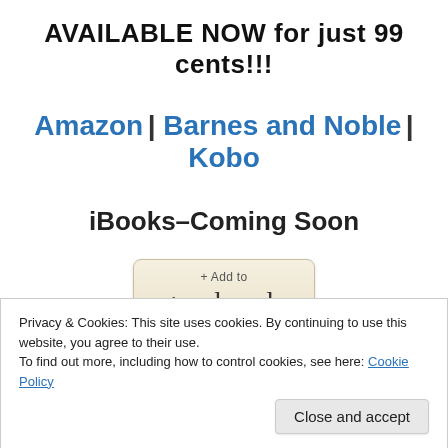AVAILABLE NOW for just 99 cents!!!
Amazon | Barnes and Noble | Kobo
iBooks–Coming Soon
[Figure (other): Goodreads '+Add to goodreads' button badge]
Advertisements
Privacy & Cookies: This site uses cookies. By continuing to use this website, you agree to their use.
To find out more, including how to control cookies, see here: Cookie Policy
Close and accept
the go.